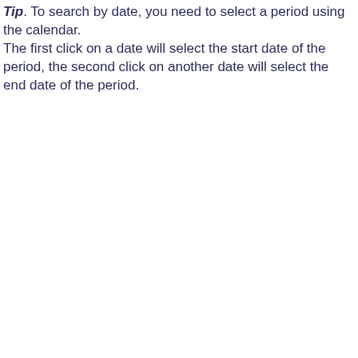Tip. To search by date, you need to select a period using the calendar. The first click on a date will select the start date of the period, the second click on another date will select the end date of the period.